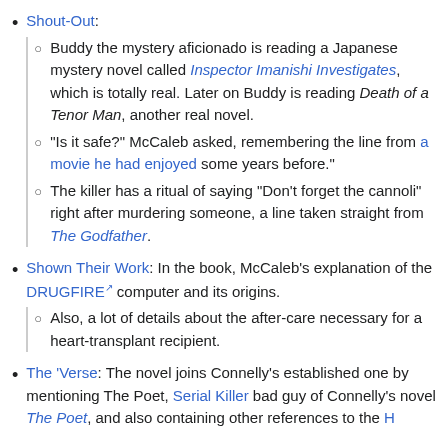Shout-Out: [nested sub-items]
Buddy the mystery aficionado is reading a Japanese mystery novel called Inspector Imanishi Investigates, which is totally real. Later on Buddy is reading Death of a Tenor Man, another real novel.
"Is it safe?" McCaleb asked, remembering the line from a movie he had enjoyed some years before."
The killer has a ritual of saying "Don't forget the cannoli" right after murdering someone, a line taken straight from The Godfather.
Shown Their Work: In the book, McCaleb's explanation of the DRUGFIRE computer and its origins.
Also, a lot of details about the after-care necessary for a heart-transplant recipient.
The 'Verse: The novel joins Connelly's established one by mentioning The Poet, Serial Killer bad guy of Connelly's novel The Poet, and also containing other references to the Harry Bosch series, as well as A Time to—